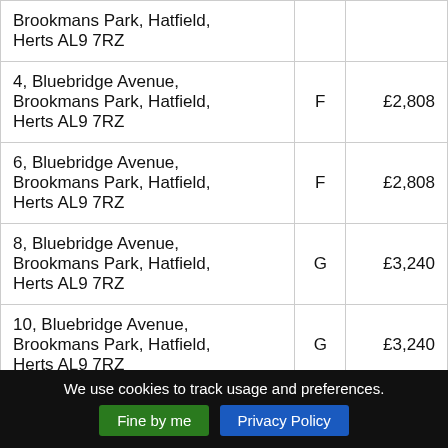| Address | Band | Amount |
| --- | --- | --- |
| Brookmans Park, Hatfield, Herts AL9 7RZ |  |  |
| 4, Bluebridge Avenue, Brookmans Park, Hatfield, Herts AL9 7RZ | F | £2,808 |
| 6, Bluebridge Avenue, Brookmans Park, Hatfield, Herts AL9 7RZ | F | £2,808 |
| 8, Bluebridge Avenue, Brookmans Park, Hatfield, Herts AL9 7RZ | G | £3,240 |
| 10, Bluebridge Avenue, Brookmans Park, Hatfield, Herts AL9 7RZ | G | £3,240 |
We use cookies to track usage and preferences.